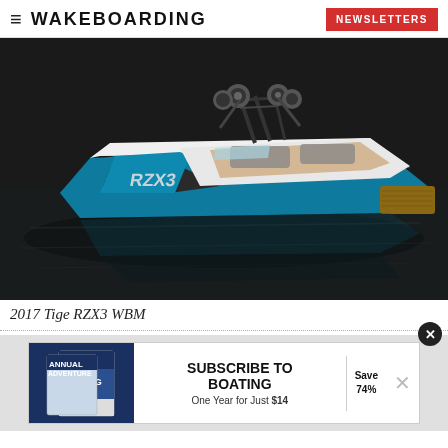WAKEBOARDING | NEWSLETTERS
[Figure (photo): A 2017 Tige RZX3 WBM wakeboarding boat photographed from above and to the side, floating on dark water. The boat features a teal/white/black color scheme with large tower speakers, a wake tower, and wood-trimmed swim platform.]
2017 Tige RZX3 WBM
[Figure (other): Advertisement banner: SUBSCRIBE TO BOATING - One Year for Just $14 - Save 74%, with Boating magazine cover images on the left.]